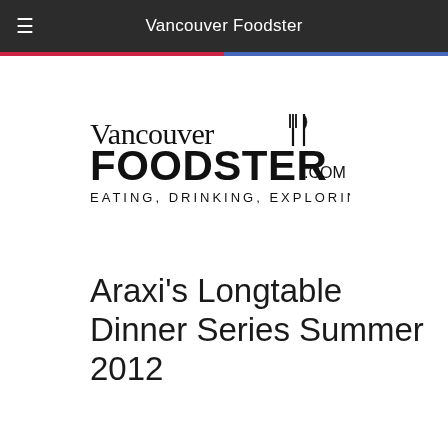Vancouver Foodster
[Figure (logo): Vancouver Foodster logo — text 'Vancouver' in serif style with fork and knife icon, 'FOODSTER' in bold black sans-serif, '.COM' in smaller text, and tagline 'EATING, DRINKING, EXPLORING' below in spaced uppercase letters]
Araxi's Longtable Dinner Series Summer 2012